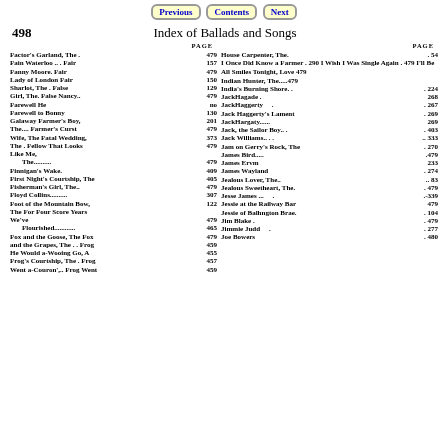Previous   Contents   Next
498   Index of Ballads and Songs
| Title | PAGE | Title | PAGE |
| --- | --- | --- | --- |
| Factor's Garland, The . | 479 | House Carpenter, The. | . 54 |
| Fain Waterloo .. . Fair | 157 | I Once Did Know a Farmer . 290 I Wish I Was Single Again . 479 I'll Be All Smiles Tonight, Love 479 |  |  |
| Fanny Moore. Fair | 479 | Indian Hunter, The.....479 |  |
| Lady of London Fair | 150 | India's Burning Shore. . | . 224 |
| Sharlot, The . False | 129 | JackHagade . | 268 |
| Girl, The. False Nancy.. | 479 | JackHaggerty . | . 267 |
| Farewell He | no | Jack Haggerty's Lament | . 269 |
| Farewell to Bonny | 130 | JackHargaty...... | 269 |
| Galaway Farmer's Boy, The.... Farmer's Curst | 201 | Jack, the Sailor Boy.. . | . 403 |
| Wife, The Fatal Wedding, | 479 | Jack Williams.. . . | .. 333 |
| The . Fellow That Looks Like Me, | 373 | Jam on Gerry's Rock, The | . 270 |
|     The.......... | 479 | James Bird..... | .479 |
| Finnigan's Wake. | 409 | James Ervm | 233 |
| First Night's Courtship, The | 405 | James Wayland | . 274 |
| Fisherman's Girl, The.. | 479 | Jealous Lover, The.. | .. 83 |
| Floyd Collins.......... | 307 | Jealous Sweetheart, The. | . 479 |
| Foot of the Mountain Bow, The For Four Score Years We've | 122 | Jesse James ... | .-339 |
| Flourished............ | 479 | Jessie at the Railway Bar | 479 |
| Fox and the Goose, The Fox and the Grapes, The . . Frog He Would a-Wooing Go, A | 465 | Jessie of Balhngton Brae. | . 104 |
|  | 479 | Jim Blake . | . 479 |
|  | 459 | Jimmie Judd . | . 277 |
| Frog's Courtship, The . Frog Went a-Couron',.. Frog Went | 455 | Joe Bowers | . 480 |
|  | 457 |  |  |
|  | 459 |  |  |